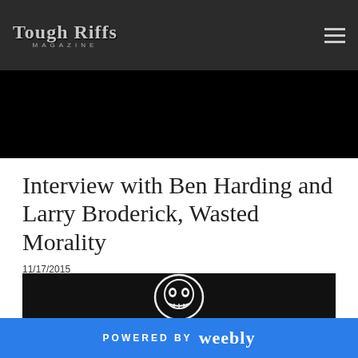Tough Riffs Magazine
Interview with Ben Harding and Larry Broderick, Wasted Morality
11/17/2015
Comments
[Figure (photo): Dark background image with Wasted Morality band logo — a stylized skull/demon illustration in black and white]
POWERED BY weebly